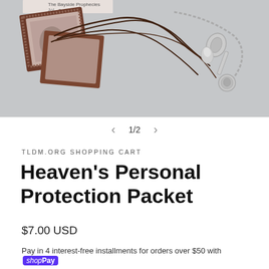[Figure (photo): Product photo showing religious protection packet items including a brown scapular with image and a silver key chain with medal and angel charm, displayed on a gray background. Text overlay partially visible reads 'The Bayside Prophecies'.]
1/2
TLDM.ORG SHOPPING CART
Heaven's Personal Protection Packet
$7.00 USD
Pay in 4 interest-free installments for orders over $50 with shop Pay